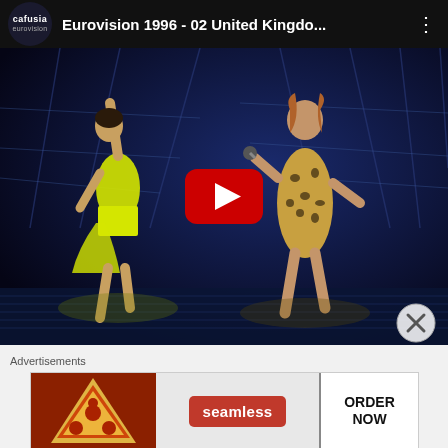[Figure (screenshot): YouTube video thumbnail showing Eurovision 1996 - 02 United Kingdom performance. Channel logo 'cafusia eurovision' in top left. Two female performers on stage: one in yellow outfit with arm raised, one in leopard print outfit singing into microphone. Dark blue stage background. YouTube play button overlay in center. Close (X) button in lower right corner.]
Advertisements
[Figure (screenshot): Seamless food delivery advertisement banner. Left portion shows pizza image on dark red background. Center shows 'seamless' logo on red rounded rectangle button. Right shows 'ORDER NOW' text in outlined box on white background.]